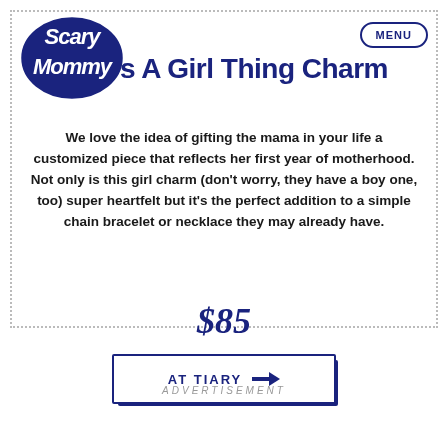[Figure (logo): Scary Mommy logo in dark blue, cursive bubble lettering]
s A Girl Thing Charm
We love the idea of gifting the mama in your life a customized piece that reflects her first year of motherhood. Not only is this girl charm (don't worry, they have a boy one, too) super heartfelt but it's the perfect addition to a simple chain bracelet or necklace they may already have.
$85
AT TIARY →
ADVERTISEMENT